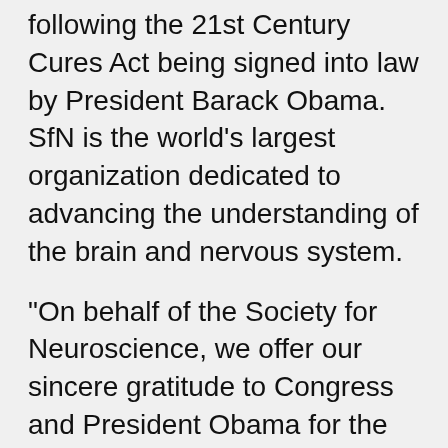following the 21st Century Cures Act being signed into law by President Barack Obama. SfN is the world's largest organization dedicated to advancing the understanding of the brain and nervous system.
“On behalf of the Society for Neuroscience, we offer our sincere gratitude to Congress and President Obama for the passage of the 21st Century Cures Act. The bill (H.R. 32) passed with overwhelming bipartisan support, showcasing the widespread awareness of the need for more research funding.
“Importantly, the bill recognizes the Brain